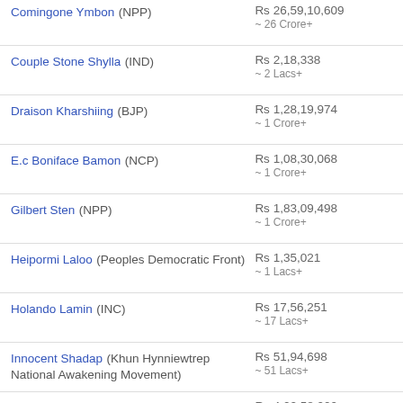Comingone Ymbon (NPP) — Rs 26,59,10,609 ~ 26 Crore+
Couple Stone Shylla (IND) — Rs 2,18,338 ~ 2 Lacs+
Draison Kharshiing (BJP) — Rs 1,28,19,974 ~ 1 Crore+
E.c Boniface Bamon (NCP) — Rs 1,08,30,068 ~ 1 Crore+
Gilbert Sten (NPP) — Rs 1,83,09,498 ~ 1 Crore+
Heipormi Laloo (Peoples Democratic Front) — Rs 1,35,021 ~ 1 Lacs+
Holando Lamin (INC) — Rs 17,56,251 ~ 17 Lacs+
Innocent Shadap (Khun Hynniewtrep National Awakening Movement) — Rs 51,94,698 ~ 51 Lacs+
Jopthiaw Lyngdoh (INC) — Rs 4,02,58,000 ~ 4 Crore+
Konstan Sungoh (United Democratic Party) — Rs 2,70,74,765 ~ 2 Crore+